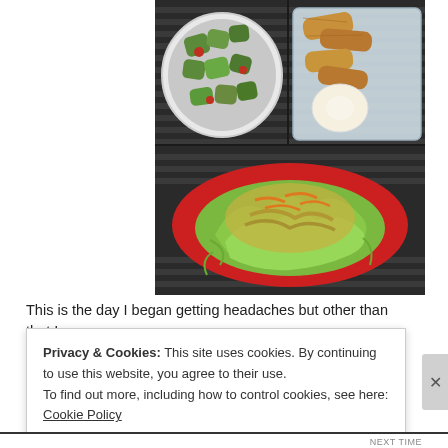[Figure (photo): Two food photos: top row shows a white bowl with chopped avocado/vegetables on left and a clear container with grilled chicken strips and a hard-boiled egg on right, all on a dark bamboo mat background; bottom photo shows a red plate with a large green salad topped with shredded carrots and dressing, on the same dark bamboo mat.]
This is the day I began getting headaches but other than that I was
Privacy & Cookies: This site uses cookies. By continuing to use this website, you agree to their use.
To find out more, including how to control cookies, see here: Cookie Policy
Close and accept